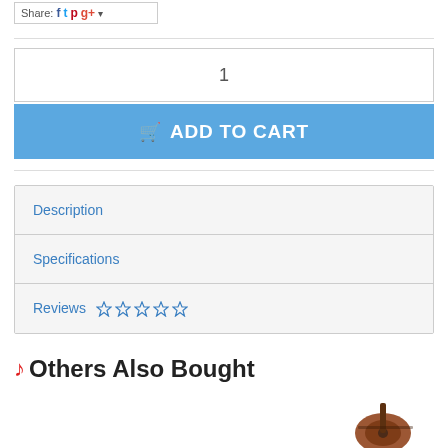Share: [Facebook] [Twitter] [Pinterest] [Google+] [dropdown]
1
ADD TO CART
Description
Specifications
Reviews ☆☆☆☆☆
Others Also Bought
[Figure (photo): Partial guitar image visible at bottom right corner]